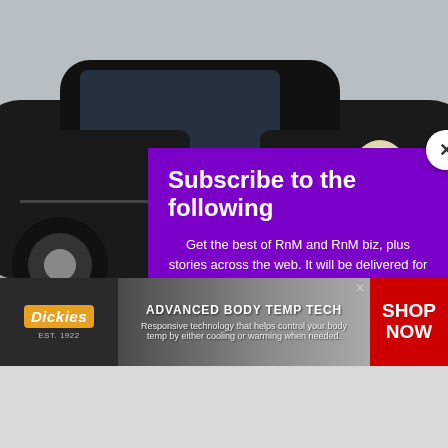[Figure (screenshot): Background showing a dark vintage car (Aston Martin) in a snowy winter scene, partially obscured by a subscription modal overlay]
Brainberries
Which Bond...
Subscribe to the following
Get the best of RnM and RnM biz, plus stories across the web. It will be delivered for free to your inbox.
email@example.com
SUBSCRIBE
[Figure (infographic): Dickies brand advertisement banner: logo on dark background, 'ADVANCED BODY TEMP TECH' headline, body copy about responsive temperature technology, and red SHOP NOW button on the right]
ADVANCED BODY TEMP TECH
Responsive technology that helps control your body temp by either cooling or warming when needed.
SHOP NOW